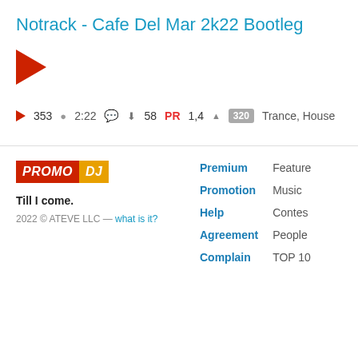Notrack - Cafe Del Mar 2k22 Bootleg
[Figure (other): Large red play button triangle icon]
353  2:22  58  PR 1,4  320  Trance, House
[Figure (logo): PROMO DJ logo with red PROMO and orange DJ text]
Till I come.
2022 © ATEVE LLC — what is it?
Premium  Promotion  Help  Agreement  Complain
Feature  Music  Contes  People  TOP 10